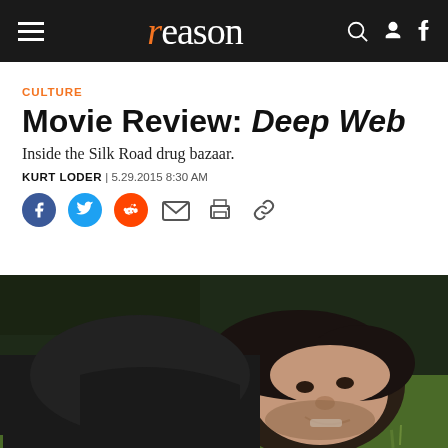reason
CULTURE
Movie Review: Deep Web
Inside the Silk Road drug bazaar.
KURT LODER | 5.29.2015 8:30 AM
[Figure (photo): A young man with dark wavy hair and a beard lying on grass, smiling, wearing a dark jacket.]